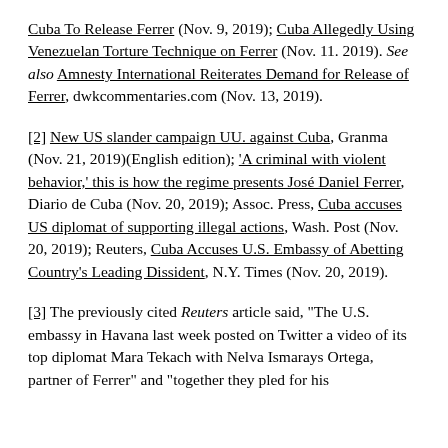Cuba To Release Ferrer (Nov. 9, 2019); Cuba Allegedly Using Venezuelan Torture Technique on Ferrer (Nov. 11. 2019). See also Amnesty International Reiterates Demand for Release of Ferrer, dwkcommentaries.com (Nov. 13, 2019).
[2] New US slander campaign UU. against Cuba, Granma (Nov. 21, 2019)(English edition); 'A criminal with violent behavior,' this is how the regime presents José Daniel Ferrer, Diario de Cuba (Nov. 20, 2019); Assoc. Press, Cuba accuses US diplomat of supporting illegal actions, Wash. Post (Nov. 20, 2019); Reuters, Cuba Accuses U.S. Embassy of Abetting Country's Leading Dissident, N.Y. Times (Nov. 20, 2019).
[3] The previously cited Reuters article said, "The U.S. embassy in Havana last week posted on Twitter a video of its top diplomat Mara Tekach with Nelva Ismarays Ortega, partner of Ferrer" and "together they pled for his